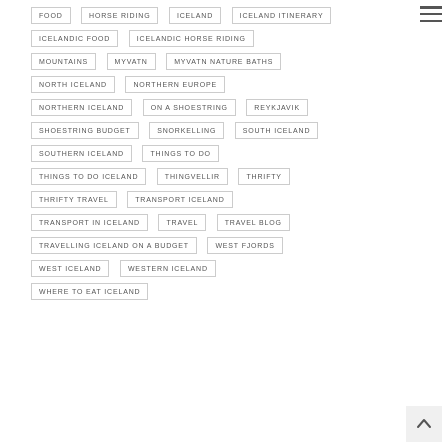FOOD
HORSE RIDING
ICELAND
ICELAND ITINERARY
ICELANDIC FOOD
ICELANDIC HORSE RIDING
MOUNTAINS
MYVATN
MYVATN NATURE BATHS
NORTH ICELAND
NORTHERN EUROPE
NORTHERN ICELAND
ON A SHOESTRING
REYKJAVIK
SHOESTRING BUDGET
SNORKELLING
SOUTH ICELAND
SOUTHERN ICELAND
THINGS TO DO
THINGS TO DO ICELAND
THINGVELLIR
THRIFTY
THRIFTY TRAVEL
TRANSPORT ICELAND
TRANSPORT IN ICELAND
TRAVEL
TRAVEL BLOG
TRAVELLING ICELAND ON A BUDGET
WEST FJORDS
WEST ICELAND
WESTERN ICELAND
WHERE TO EAT ICELAND